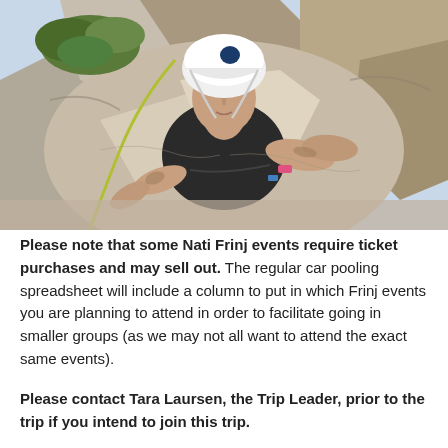[Figure (photo): A woman rock climber wearing a white helmet and dark sleeveless top, with visible tattoos on her arms and shoulders, climbing a rock face. She is looking forward with climbing gear attached.]
Please note that some Nati Frinj events require ticket purchases and may sell out. The regular car pooling spreadsheet will include a column to put in which Frinj events you are planning to attend in order to facilitate going in smaller groups (as we may not all want to attend the exact same events).
Please contact Tara Laursen, the Trip Leader, prior to the trip if you intend to join this trip.